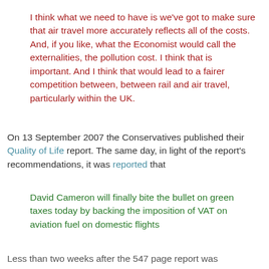I think what we need to have is we've got to make sure that air travel more accurately reflects all of the costs. And, if you like, what the Economist would call the externalities, the pollution cost. I think that is important. And I think that would lead to a fairer competition between, between rail and air travel, particularly within the UK.
On 13 September 2007 the Conservatives published their Quality of Life report. The same day, in light of the report's recommendations, it was reported that
David Cameron will finally bite the bullet on green taxes today by backing the imposition of VAT on aviation fuel on domestic flights
Less than two weeks after the 547 page report was